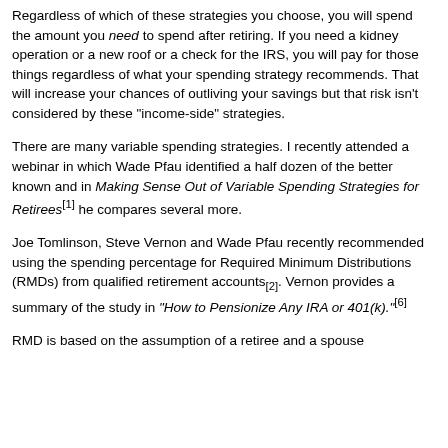Regardless of which of these strategies you choose, you will spend the amount you need to spend after retiring. If you need a kidney operation or a new roof or a check for the IRS, you will pay for those things regardless of what your spending strategy recommends. That will increase your chances of outliving your savings but that risk isn't considered by these "income-side" strategies.
There are many variable spending strategies. I recently attended a webinar in which Wade Pfau identified a half dozen of the better known and in Making Sense Out of Variable Spending Strategies for Retirees[1] he compares several more.
Joe Tomlinson, Steve Vernon and Wade Pfau recently recommended using the spending percentage for Required Minimum Distributions (RMDs) from qualified retirement accounts[2]. Vernon provides a summary of the study in "How to Pensionize Any IRA or 401(k)."[6]
RMD is based on the assumption of a retiree and a spouse